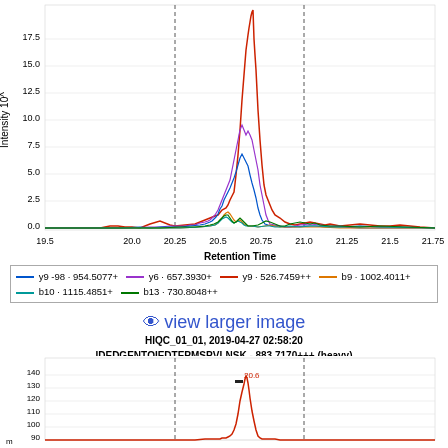[Figure (continuous-plot): Chromatogram showing intensity (10^x) vs retention time (19.5 to 21.75) with multiple colored traces (blue, purple, red, orange, teal, green) showing peaks around retention time 20.5-20.75]
— y9 -98 · 954.5077+ — y6 · 657.3930+ — y9 · 526.7459++ — b9 · 1002.4011+
— b10 · 1115.4851+ — b13 · 730.8048++
👁 view larger image
HIQC_01_01, 2019-04-27 02:58:20
IDEDGENTQIEDTEPMSPVLNSK - 883.7170+++ (heavy)
[Figure (continuous-plot): Chromatogram showing intensity vs retention time with a labeled peak at 20.6, y-axis showing values from ~90 to 140]